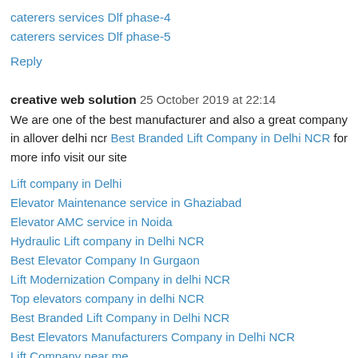caterers services Dlf phase-4
caterers services Dlf phase-5
Reply
creative web solution  25 October 2019 at 22:14
We are one of the best manufacturer and also a great company in allover delhi ncr Best Branded Lift Company in Delhi NCR for more info visit our site
Lift company in Delhi
Elevator Maintenance service in Ghaziabad
Elevator AMC service in Noida
Hydraulic Lift company in Delhi NCR
Best Elevator Company In Gurgaon
Lift Modernization Company in delhi NCR
Top elevators company in delhi NCR
Best Branded Lift Company in Delhi NCR
Best Elevators Manufacturers Company in Delhi NCR
Lift Company near me
Elevator manufacturer company in Ghaziabad